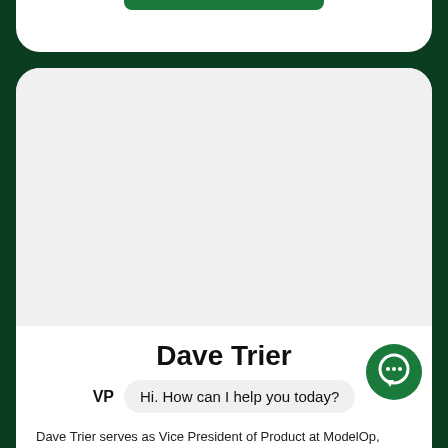Dave Trier
VP   Hi. How can I help you today?
Dave Trier serves as Vice President of Product at ModelOp, charged with defining and executing on strategy for ModelOp Center, paving the way for customers to overcome their ModelOps challenges and unlock the value of AI.